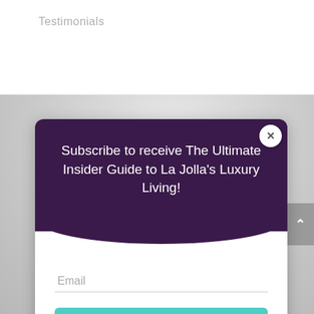Testimonials
[Figure (photo): Gray textured background photo with a blurred plant/palm leaf motif]
Subscribe to receive The Ultimate Insider Guide to La Jolla's Luxury Living!
Email
SUBSCRIBE!